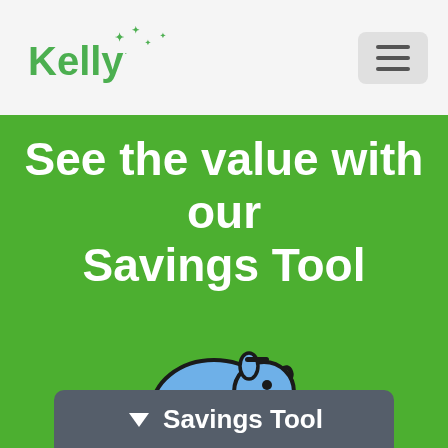Kelly
See the value with our Savings Tool
[Figure (illustration): A blue cartoon piggy bank with a dark outline, coin slot on top, small dot eye, set against a green background.]
Savings Tool